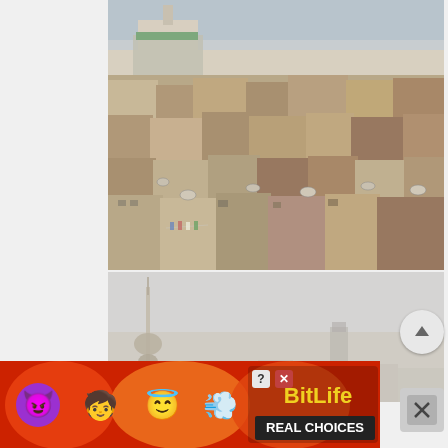[Figure (photo): Aerial view of a densely packed urban neighborhood, likely Casablanca, Morocco, showing crowded rooftops with satellite dishes, laundry hanging, and a mosque with minaret visible in the background against a hazy sky.]
[Figure (photo): Foggy/smoggy cityscape of Shanghai showing the Oriental Pearl Tower on the left and a skyscraper in the distance on the right, with heavy haze obscuring most of the skyline.]
[Figure (photo): BitLife advertisement banner with emoji characters (devil, person, angel) and text 'BitLife REAL CHOICES' on a red/orange background with question mark and X buttons.]